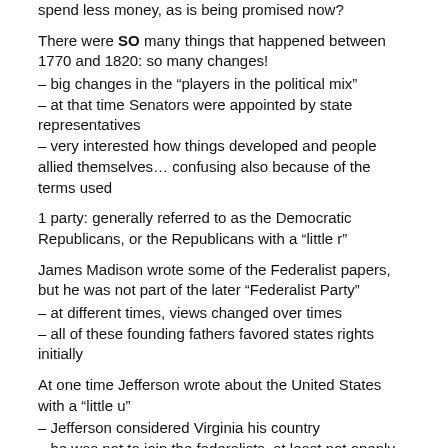spend less money, as is being promised now?
There were SO many things that happened between 1770 and 1820: so many changes!
– big changes in the “players in the political mix”
– at that time Senators were appointed by state representatives
– very interested how things developed and people allied themselves… confusing also because of the terms used
1 party: generally referred to as the Democratic Republicans, or the Republicans with a “little r”
James Madison wrote some of the Federalist papers, but he was not part of the later “Federalist Party”
– at different times, views changed over times
– all of these founding fathers favored states rights initially
At one time Jefferson wrote about the United States with a “little u”
– Jefferson considered Virginia his country
– he was not to join the federalists, at least not openly